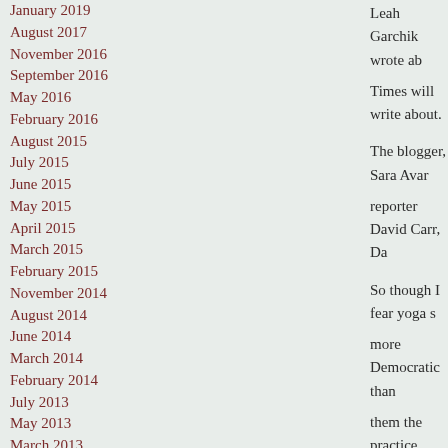January 2019
August 2017
November 2016
September 2016
May 2016
February 2016
August 2015
July 2015
June 2015
May 2015
April 2015
March 2015
February 2015
November 2014
August 2014
June 2014
March 2014
February 2014
July 2013
May 2013
March 2013
December 2012
October 2012
Leah Garchik wrote ab
Times will write about.
The blogger, Sara Avar
reporter David Carr, Da
So though I fear yoga s
more Democratic than
them the practice preda
Comment » | Uncatego
My Closet
August 22nd, 2008 — 3:33pm
I've noticed, without pa